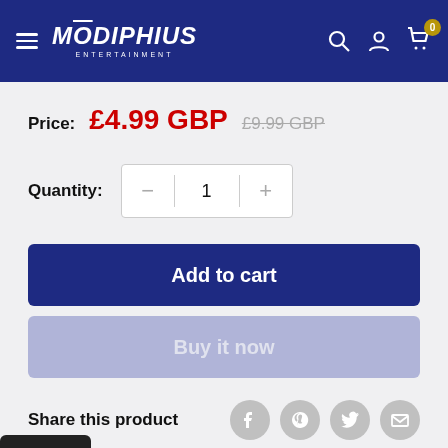Modiphius Entertainment — navigation header
Price: £4.99 GBP  £9.99 GBP
Quantity: 1
Add to cart
Buy it now
Share this product
Rewards